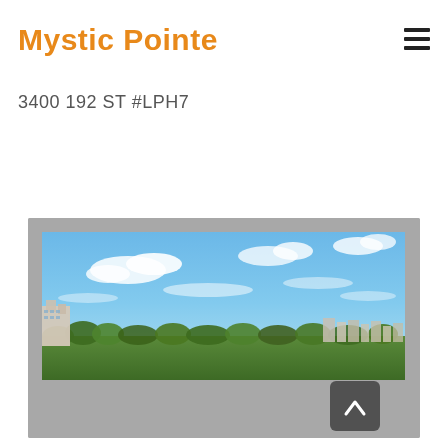Mystic Pointe
3400 192 ST #LPH7
[Figure (photo): Panoramic exterior photo taken from a high floor showing a wide blue sky with scattered white clouds and a city skyline with buildings and green tree canopy in the foreground, gray photo viewer frame with navigation button]